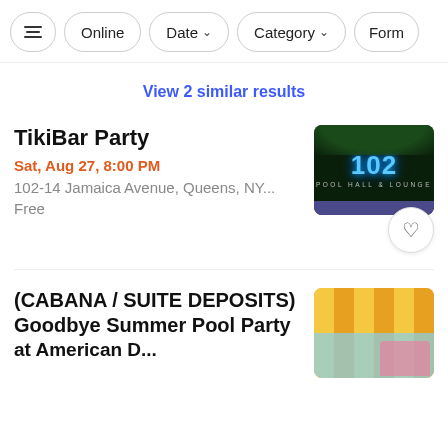Filter bar with: [filter icon], Online, Date, Category, Form...
View 2 similar results
TikiBar Party
Sat, Aug 27, 8:00 PM
102-14 Jamaica Avenue, Queens, NY...
Free
[Figure (photo): TikiBar Party event thumbnail - neon sign reading '102' with 'pool hall & lounge' text on dark green background]
(CABANA / SUITE DEPOSITS) Goodbye Summer Pool Party at American D...
[Figure (photo): Pool party event thumbnail showing yellow/golden curtain stripes with pool/water park in background]